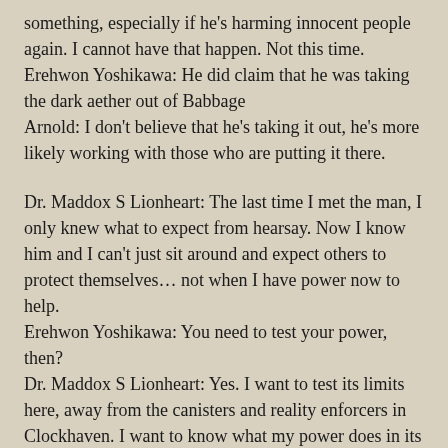something, especially if he's harming innocent people again. I cannot have that happen. Not this time.
Erehwon Yoshikawa: He did claim that he was taking the dark aether out of Babbage
Arnold: I don't believe that he's taking it out, he's more likely working with those who are putting it there.
Dr. Maddox S Lionheart: The last time I met the man, I only knew what to expect from hearsay. Now I know him and I can't just sit around and expect others to protect themselves… not when I have power now to help.
Erehwon Yoshikawa: You need to test your power, then?
Dr. Maddox S Lionheart: Yes. I want to test its limits here, away from the canisters and reality enforcers in Clockhaven. I want to know what my power does in its rawest form. And since I have two people I trust with my life here to watch me, I don't see the harm in